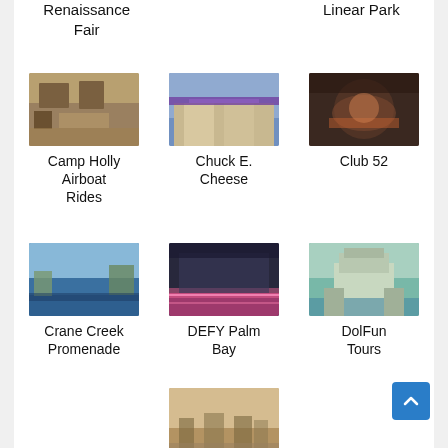Renaissance Fair
Linear Park
[Figure (photo): Interior of Camp Holly Airboat Rides building]
Camp Holly Airboat Rides
[Figure (photo): Exterior of Chuck E. Cheese restaurant]
Chuck E. Cheese
[Figure (photo): Food dish at Club 52]
Club 52
[Figure (photo): Crane Creek waterfront promenade]
Crane Creek Promenade
[Figure (photo): DEFY Palm Bay indoor trampoline park]
DEFY Palm Bay
[Figure (photo): DolFun Tours coastal house]
DolFun Tours
[Figure (photo): Aerial view of Downtown Melbourne]
Downtown Melbourne